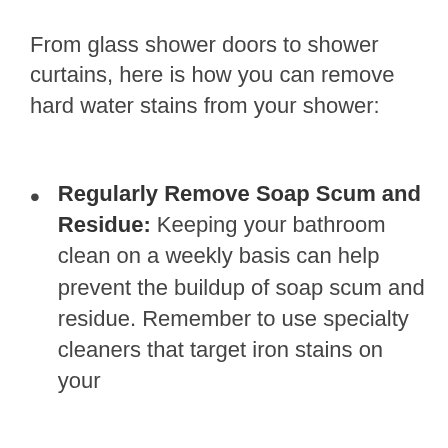From glass shower doors to shower curtains, here is how you can remove hard water stains from your shower:
Regularly Remove Soap Scum and Residue: Keeping your bathroom clean on a weekly basis can help prevent the buildup of soap scum and residue. Remember to use specialty cleaners that target iron stains on your